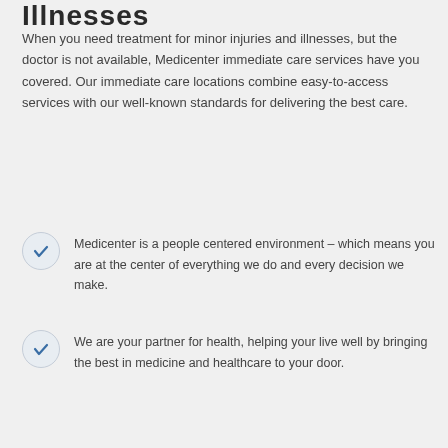Illnesses
When you need treatment for minor injuries and illnesses, but the doctor is not available, Medicenter immediate care services have you covered. Our immediate care locations combine easy-to-access services with our well-known standards for delivering the best care.
Medicenter is a people centered environment – which means you are at the center of everything we do and every decision we make.
We are your partner for health, helping your live well by bringing the best in medicine and healthcare to your door.